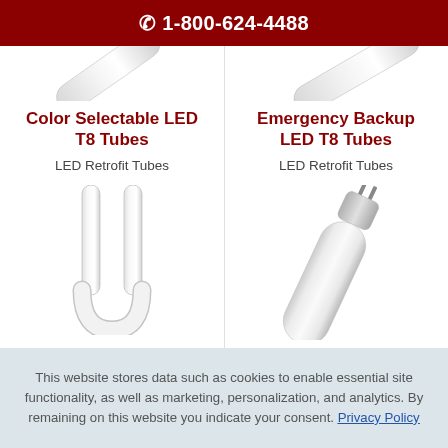☎ 1-800-624-4488
Color Selectable LED T8 Tubes
LED Retrofit Tubes
[Figure (photo): U-shaped LED T8 tube light, white/clear, shown vertically]
Emergency Backup LED T8 Tubes
LED Retrofit Tubes
[Figure (photo): Straight LED T8 tube light, white frosted, shown at an angle with pins visible at top]
This website stores data such as cookies to enable essential site functionality, as well as marketing, personalization, and analytics. By remaining on this website you indicate your consent. Privacy Policy